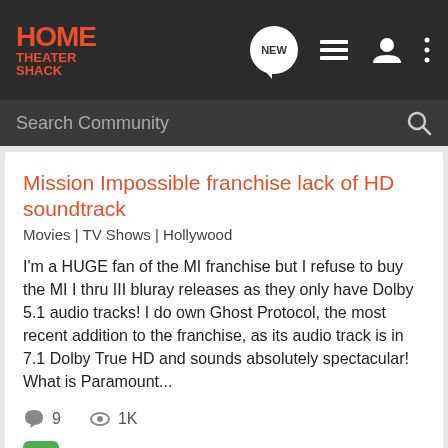HOME THEATER SHACK
Search Community
Mission Impossible franchise lack of HD soundtrack
Movies | TV Shows | Hollywood
I'm a HUGE fan of the MI franchise but I refuse to buy the MI I thru III bluray releases as they only have Dolby 5.1 audio tracks! I do own Ghost Protocol, the most recent addition to the franchise, as its audio track is in 7.1 Dolby True HD and sounds absolutely spectacular! What is Paramount...
9 comments  1K views
Jules Winnfield · Aug 12, 2012
franchise
impossible
lack
mission
soundtrack
Mission: Impossible Ghost Protocol - Blu-ray